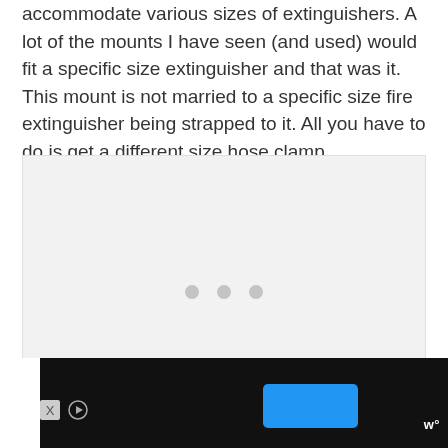accommodate various sizes of extinguishers. A lot of the mounts I have seen (and used) would fit a specific size extinguisher and that was it. This mount is not married to a specific size fire extinguisher being strapped to it. All you have to do is get a different size hose clamp.
[Figure (photo): A light gray placeholder image area with three small gray dots at the bottom center indicating an image carousel or loading state.]
Advertisement bar with X and play icons on the left, a blue button in the center-right, and a W° logo icon on the right.